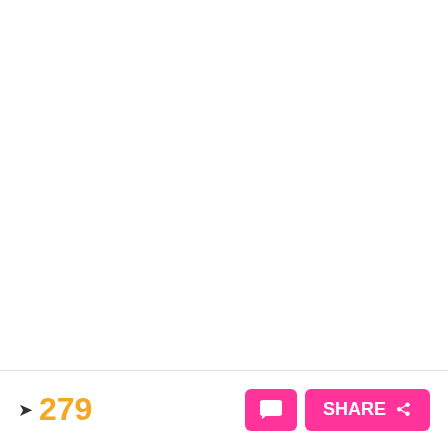[Figure (illustration): White background with repeating light gray zigzag/squiggle watermark pattern scattered across the image area]
279
SHARE